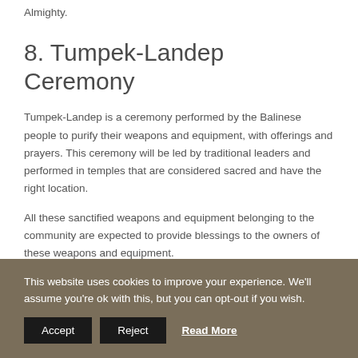Almighty.
8. Tumpek-Landep Ceremony
Tumpek-Landep is a ceremony performed by the Balinese people to purify their weapons and equipment, with offerings and prayers. This ceremony will be led by traditional leaders and performed in temples that are considered sacred and have the right location.
All these sanctified weapons and equipment belonging to the community are expected to provide blessings to the owners of these weapons and equipment.
9. Otonan Ceremony
This website uses cookies to improve your experience. We'll assume you're ok with this, but you can opt-out if you wish.